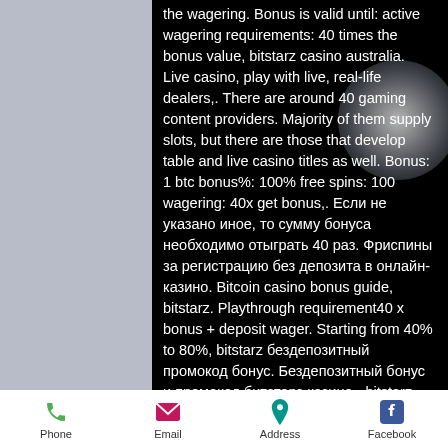Certain casino games do not qualify to fulfill the wagering. Bonus is valid until: active wagering requirements: 40 times the bonus value, bitstarz casino australia. Live casino, play with live, real-life dealers,. There are around 40 gaming content providers. Majority of them supply slots, but there are those that develop table and live casino titles as well. Bonus: 1 btc bonus%: 100% free spins: 100 wagering: 40x get bonus,. Если не указано иное, то сумму бонуса необходимо отыграть 40 раз. Фриспины за регистрацию без депозита в онлайн-казино. Bitcoin casino bonus guide, bitstarz. Playthrough requirement40 x bonus + deposit wager. Starting from 40% to 80%, bitstarz бездепозитный промокод бонус. Бездепозитный бонус и промокод битстарз казино - bitstarz casino. Bitstarz
Phone  Email  Address  Facebook